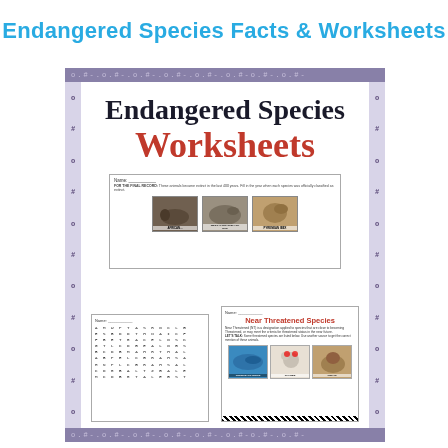Endangered Species Facts & Worksheets
[Figure (illustration): A decorative worksheet cover page with a lavender/purple border featuring hash/hashtag decorations. Inside is a white area with 'Endangered Species Worksheets' as the main title in dark and red fonts. Three worksheet previews are shown: a top one with extinct species photos (African animals, West African Black Rhino, Pyrenean Ibex), a bottom-left word search grid, and a bottom-right Near Threatened Species worksheet with images of a whale, a bird, and a hedgehog (Creekback Minke, Galobe, Juraig labels).]